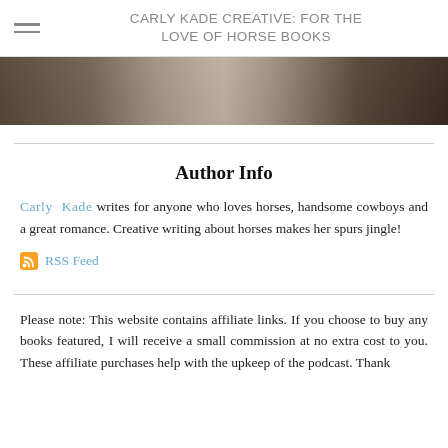CARLY KADE CREATIVE: FOR THE LOVE OF HORSE BOOKS
[Figure (photo): Dark close-up photo strip of a horse or equestrian scene, showing dark tones of brown and black.]
Author Info
Carly Kade writes for anyone who loves horses, handsome cowboys and a great romance. Creative writing about horses makes her spurs jingle!
RSS Feed
Please note: This website contains affiliate links. If you choose to buy any books featured, I will receive a small commission at no extra cost to you. These affiliate purchases help with the upkeep of the podcast. Thank